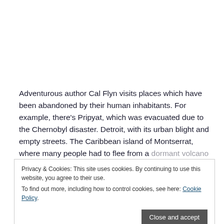Adventurous author Cal Flyn visits places which have been abandoned by their human inhabitants. For example, there's Pripyat, which was evacuated due to the Chernobyl disaster. Detroit, with its urban blight and empty streets. The Caribbean island of Montserrat, where many people had to flee from a dormant volcano turned active. The buffer zone in Cyprus, where the island is divided between the Greek and Turkish administrations. I admired the author's willingness to take risks in the cause of literature. She wades into toxic waste-contaminated water, creeps into derelict buildings and so on – all for her art.
Privacy & Cookies: This site uses cookies. By continuing to use this website, you agree to their use.
To find out more, including how to control cookies, see here: Cookie Policy